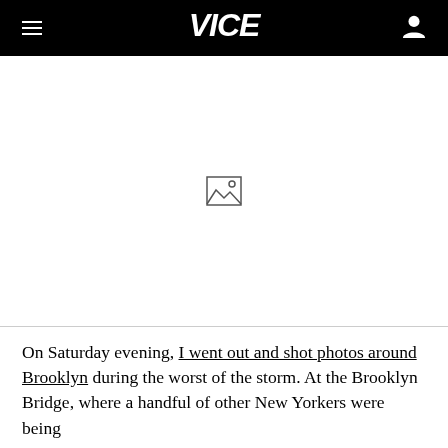VICE
[Figure (photo): Image placeholder icon showing a broken/missing image symbol (mountain scene icon) centered in a large white area]
On Saturday evening, I went out and shot photos around Brooklyn during the worst of the storm. At the Brooklyn Bridge, where a handful of other New Yorkers were being